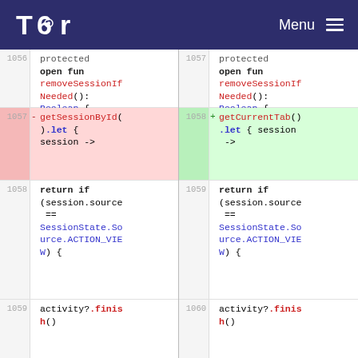Tor Menu
[Figure (screenshot): Code diff view showing two columns with line numbers. Left side shows old code with line 1057 removed (getSessionById()?.let { session ->), right side shows new code with line 1058 added (getCurrentTab()?.let { session ->). Surrounding lines show removeSessionIfNeeded(): Boolean { and return if (session.source == SessionState.Source.ACTION_VIEW) { and activity?.finish()]
1056  protected
open fun
removeSessionIf
Needed():
Boolean {
1057  protected
open fun
removeSessionIf
Needed():
Boolean {
1057 - getSessionById()?.let { session ->
1058 + getCurrentTab()?.let { session ->
1058   return if (session.source == SessionState.Source.ACTION_VIEW) {
1059   return if (session.source == SessionState.Source.ACTION_VIEW) {
1059   activity?.finish()
1060   activity?.finish()